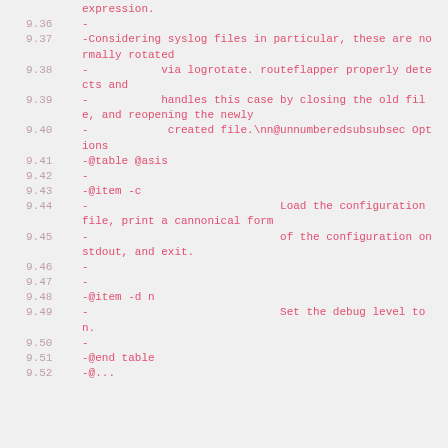expression.
9.36  -
9.37  -Considering syslog files in particular, these are normally rotated
9.38  -           via logrotate. routeflapper properly detects and
9.39  -           handles this case by closing the old file, and reopening the newly
9.40  -            created file.\nn@unnumberedsubsubsec Options
9.41  -@table @asis
9.42  -
9.43  -@item -c
9.44  -                             Load the configuration file, print a cannonical form
9.45  -                             of the configuration on stdout, and exit.
9.46  -
9.47  -
9.48  -@item -d n
9.49  -                             Set the debug level to n.
9.50  -
9.51  -@end table
9.52  ...